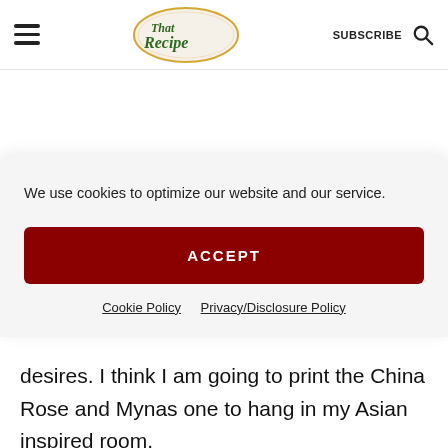That Recipe — SUBSCRIBE
We use cookies to optimize our website and our service.
ACCEPT
Cookie Policy   Privacy/Disclosure Policy
desires. I think I am going to print the China Rose and Mynas one to hang in my Asian inspired room.